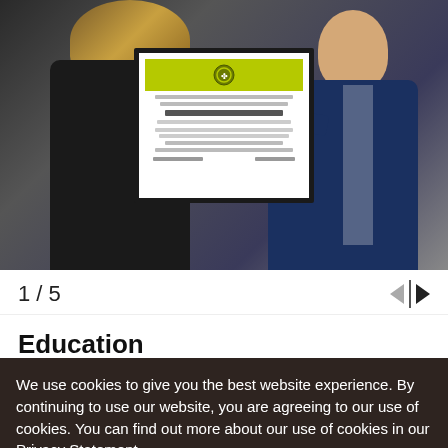[Figure (photo): Two people holding a framed certificate with a yellow-green header and logo. Person on left in black outfit, person on right in blue suit.]
1 / 5
Education
The Partners Program promotes communications
We use cookies to give you the best website experience. By continuing to use our website, you are agreeing to our use of cookies. You can find out more about our use of cookies in our Privacy Statement.
OK, I agree